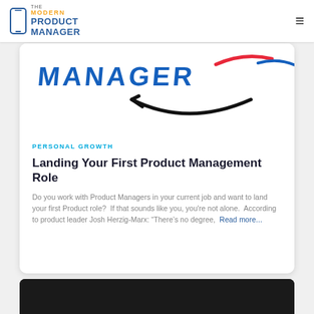The Modern Product Manager
[Figure (screenshot): Partial article card image showing hand-drawn text MANAGER with an Amazon-style arrow/smile logo sketch]
PERSONAL GROWTH
Landing Your First Product Management Role
Do you work with Product Managers in your current job and want to land your first Product role?  If that sounds like you, you're not alone.  According to product leader Josh Herzig-Marx: “There’s no degree,  Read more...
[Figure (photo): Bottom of page showing dark card thumbnail peek]